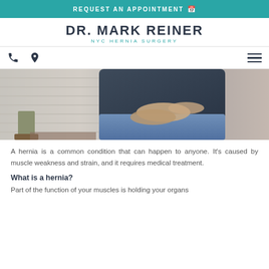REQUEST AN APPOINTMENT 📅
DR. MARK REINER
NYC HERNIA SURGERY
[Figure (photo): Navigation bar with phone icon, location pin icon on the left and hamburger menu on the right]
[Figure (photo): A person holding their abdomen/groin area with both hands, wearing a dark long-sleeve shirt and jeans, standing in a room with white brick walls and a plant in the background]
A hernia is a common condition that can happen to anyone. It's caused by muscle weakness and strain, and it requires medical treatment.
What is a hernia?
Part of the function of your muscles is holding your organs